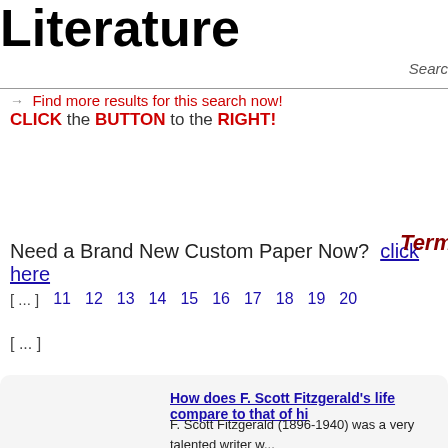Literature
Search
Find more results for this search now! CLICK the BUTTON to the RIGHT!
Need a Brand New Custom Paper Now?  click here
Term
[ ... ]  11  12  13  14  15  16  17  18  19  20
[ ... ]
How does F. Scott Fitzgerald's life compare to that of hi...
F. Scott Fitzgerald (1896-1940) was a very talented writer w... after his death. People now ...
Save Paper   jamee13   Published on 09/04/2...
How Jack develops between the chapters 1 and 4.
Between the Chapters One and Four, Jack changes and de... goes from being a civilized cho...